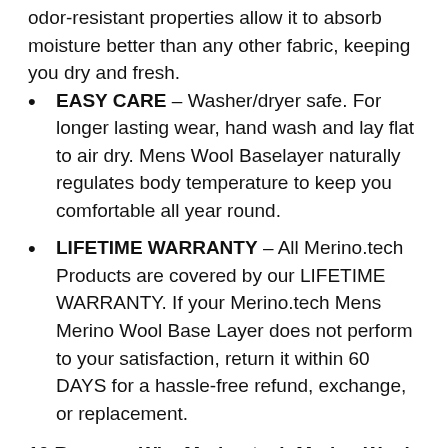odor-resistant properties allow it to absorb moisture better than any other fabric, keeping you dry and fresh.
EASY CARE – Washer/dryer safe. For longer lasting wear, hand wash and lay flat to air dry. Mens Wool Baselayer naturally regulates body temperature to keep you comfortable all year round.
LIFETIME WARRANTY – All Merino.tech Products are covered by our LIFETIME WARRANTY. If your Merino.tech Mens Merino Wool Base Layer does not perform to your satisfaction, return it within 60 DAYS for a hassle-free refund, exchange, or replacement.
10 Reasons Why Merino.tech Merino Wool Shirts for Men are Perfect for You!
Affordable – Replace your cotton with Midweight